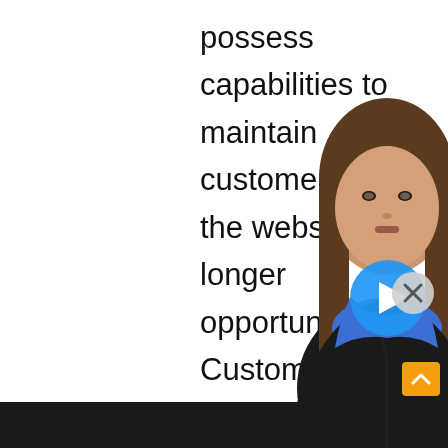possess capabilities to maintain customers on the website for longer opportunity. Customers must certainly not be actually jumping of the website in swiftly. web desi n West as an ex indivi a Goo
[Figure (screenshot): A woman with long brown hair wearing a black blazer and blue top, appearing as a video widget overlay on the page. A blue circular play button is shown in the center of the video. A gray close (X) button appears to the upper right of the video. An orange/amber scroll-up arrow button is in the lower right corner. A dark bar runs across the bottom of the page.]